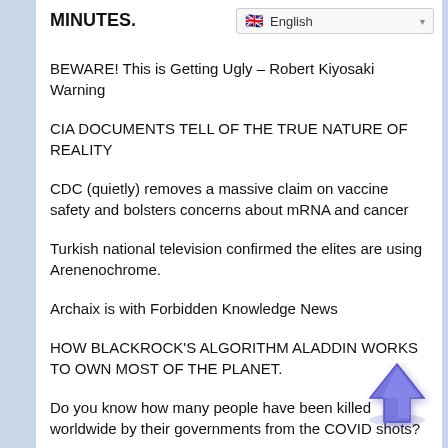MINUTES.
English (language selector)
BEWARE! This is Getting Ugly – Robert Kiyosaki Warning
CIA DOCUMENTS TELL OF THE TRUE NATURE OF REALITY
CDC (quietly) removes a massive claim on vaccine safety and bolsters concerns about mRNA and cancer
Turkish national television confirmed the elites are using Arenenochrome.
Archaix is with Forbidden Knowledge News
HOW BLACKROCK'S ALGORITHM ALADDIN WORKS TO OWN MOST OF THE PLANET.
Do you know how many people have been killed worldwide by their governments from the COVID shots?
SIMONE GOLD | MYRTLE BEACH, SOUTH CAROLINA